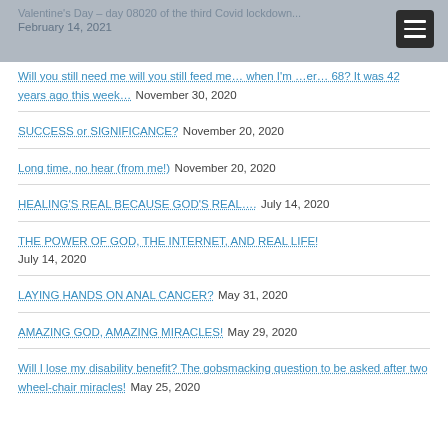Valentine's Day – day 08020 of the third Covid lockdown...
February 14, 2021
Will you still need me will you still feed me… when I'm …er… 68? It was 42 years ago this week… November 30, 2020
SUCCESS or SIGNIFICANCE? November 20, 2020
Long time, no hear (from me!) November 20, 2020
HEALING'S REAL BECAUSE GOD'S REAL…. July 14, 2020
THE POWER OF GOD, THE INTERNET, AND REAL LIFE! July 14, 2020
LAYING HANDS ON ANAL CANCER? May 31, 2020
AMAZING GOD, AMAZING MIRACLES! May 29, 2020
Will I lose my disability benefit? The gobsmacking question to be asked after two wheel-chair miracles! May 25, 2020